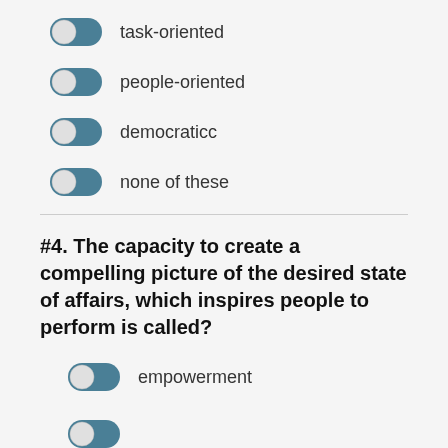task-oriented
people-oriented
democraticc
none of these
#4. The capacity to create a compelling picture of the desired state of affairs, which inspires people to perform is called?
empowerment